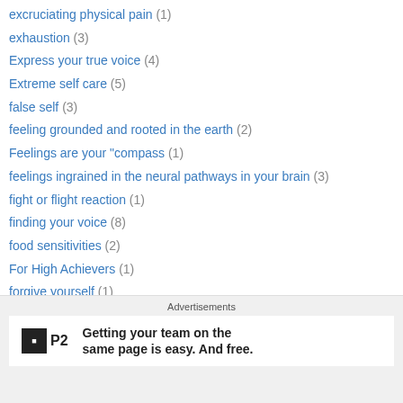excruciating physical pain (1)
exhaustion (3)
Express your true voice (4)
Extreme self care (5)
false self (3)
feeling grounded and rooted in the earth (2)
Feelings are your "compass (1)
feelings ingrained in the neural pathways in your brain (3)
fight or flight reaction (1)
finding your voice (8)
food sensitivities (2)
For High Achievers (1)
forgive yourself (1)
forgiveness (2)
found my self (2)
freedom (4)
Advertisements
Getting your team on the same page is easy. And free.